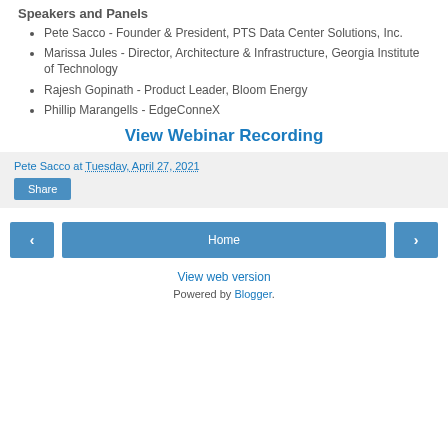Speakers and Panels
Pete Sacco - Founder & President, PTS Data Center Solutions, Inc.
Marissa Jules - Director, Architecture & Infrastructure, Georgia Institute of Technology
Rajesh Gopinath - Product Leader, Bloom Energy
Phillip Marangells - EdgeConneX
View Webinar Recording
Pete Sacco at Tuesday, April 27, 2021
Share
Home
View web version
Powered by Blogger.